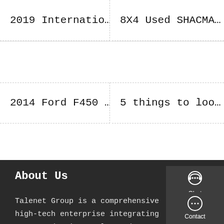2019 Internatio…
8X4 Used SHACMA…
2014 Ford F450 …
5 things to loo…
[Figure (screenshot): Sidebar with Chat, Email, Contact, and Top navigation icons on dark background]
About Us
Talenet Group is a comprehensive high-tech enterprise integrating R&D, production, sales and service. Its main products include construction vehicles, second-hand vehicles, new trucks, and Used truck equipment. The group covers an area of 700,000 square